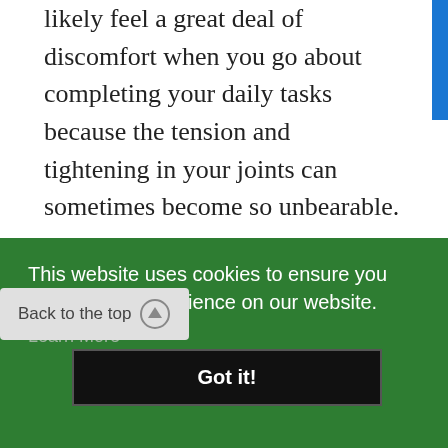likely feel a great deal of discomfort when you go about completing your daily tasks because the tension and tightening in your joints can sometimes become so unbearable.
Due to the anti-inflammatory properties within the oil, there's a good chance that ucuuba butter can provide you with some of [relief/] ing. [g]
This website uses cookies to ensure you get the best experience on our website.
Learn More
Back to the top
Got it!